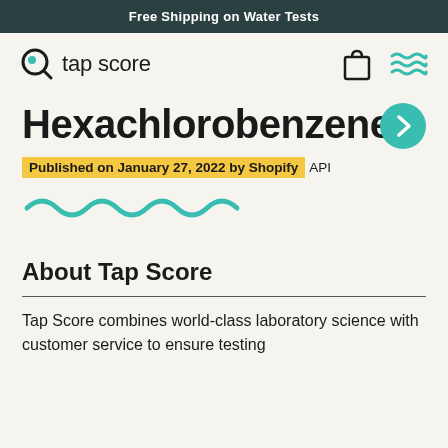Free Shipping on Water Tests
[Figure (logo): Tap Score logo with magnifying glass icon and text 'tap score']
Hexachlorobenzene
Published on January 27, 2022 by Shopify API
[Figure (illustration): Teal wavy line decorative divider]
About Tap Score
Tap Score combines world-class laboratory science with customer service to ensure testing